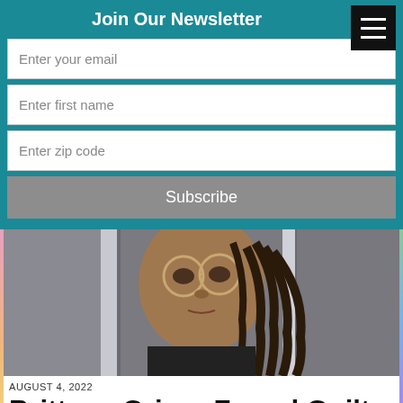Join Our Newsletter
Enter your email
Enter first name
Enter zip code
Subscribe
[Figure (photo): Person with glasses and dreadlocks visible behind bars or cage-like structure, close-up face shot]
AUGUST 4, 2022
Brittney Griner Found Guilty In Russian Court